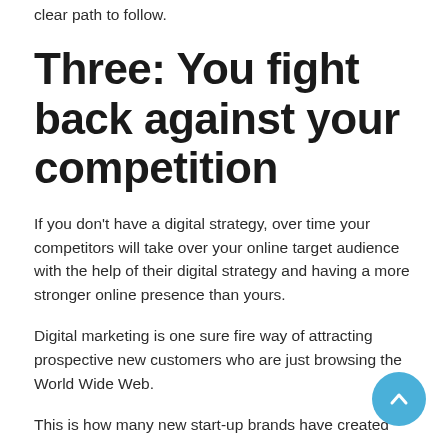clear path to follow.
Three: You fight back against your competition
If you don't have a digital strategy, over time your competitors will take over your online target audience with the help of their digital strategy and having a more stronger online presence than yours.
Digital marketing is one sure fire way of attracting prospective new customers who are just browsing the World Wide Web.
This is how many new start-up brands have created online competition for existing businesses.